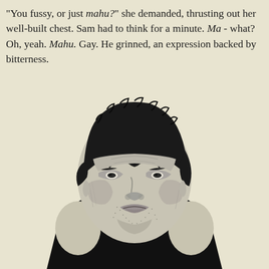"You fussy, or just mahu?" she demanded, thrusting out her well-built chest. Sam had to think for a minute. Ma - what? Oh, yeah. Mahu. Gay. He grinned, an expression backed by bitterness.
[Figure (illustration): Black and white ink illustration of a middle-aged man with curly dark hair, wearing a sleeveless black vest, looking slightly downward with a grim expression. The style is detailed crosshatching/stippling on a cream background.]